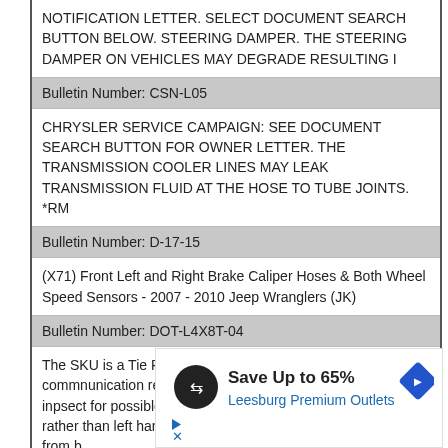NOTIFICATION LETTER. SELECT DOCUMENT SEARCH BUTTON BELOW. STEERING DAMPER. THE STEERING DAMPER ON VEHICLES MAY DEGRADE RESULTING I
Bulletin Number: CSN-L05
CHRYSLER SERVICE CAMPAIGN: SEE DOCUMENT SEARCH BUTTON FOR OWNER LETTER. THE TRANSMISSION COOLER LINES MAY LEAK TRANSMISSION FLUID AT THE HOSE TO TUBE JOINTS. *RM
Bulletin Number: D-17-15
(X71) Front Left and Right Brake Caliper Hoses & Both Wheel Speed Sensors - 2007 - 2010 Jeep Wranglers (JK)
Bulletin Number: DOT-L4X8T-04
The SKU is a Tie Rod Center Stud. The Customer commnunication requested return of unsold inventory to inpsect for possible incorrect direction threads (right hand rather than left hand). Incorrect direction threads will prevent it from b
Bulletin Number: M31050813
New Safety Recall Advanced Communication ? M31050813 Chrysler Group LLC (Chrysler) announced a safety recall on certain 2008 through 2012 model year
[Figure (infographic): Advertisement banner: Save Up to 65% Leesburg Premium Outlets, with a black circle icon with double arrow, a blue diamond navigation icon, and play/close controls.]